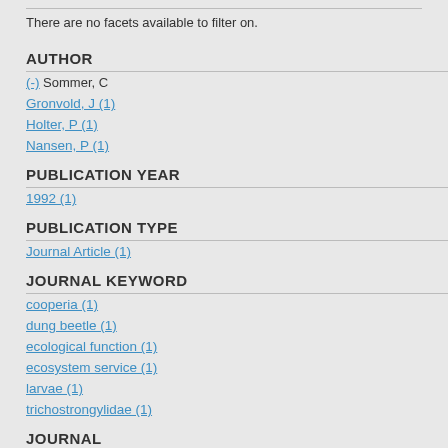There are no facets available to filter on.
AUTHOR
(-) Sommer, C
Gronvold, J (1)
Holter, P (1)
Nansen, P (1)
PUBLICATION YEAR
1992 (1)
PUBLICATION TYPE
Journal Article (1)
JOURNAL KEYWORD
cooperia (1)
dung beetle (1)
ecological function (1)
ecosystem service (1)
larvae (1)
trichostrongylidae (1)
JOURNAL